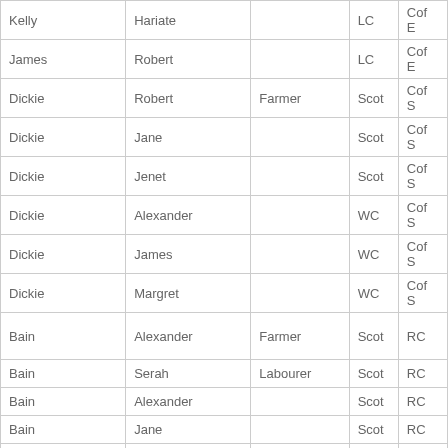| Kelly | Hariate |  | LC | Cof E |
| James | Robert |  | LC | Cof E |
| Dickie | Robert | Farmer | Scot | Cof S |
| Dickie | Jane |  | Scot | Cof S |
| Dickie | Jenet |  | Scot | Cof S |
| Dickie | Alexander |  | WC | Cof S |
| Dickie | James |  | WC | Cof S |
| Dickie | Margret |  | WC | Cof S |
| Bain | Alexander | Farmer | Scot | RC |
| Bain | Serah | Labourer | Scot | RC |
| Bain | Alexander |  | Scot | RC |
| Bain | Jane |  | Scot | RC |
| Bain | William |  | Scot | RC |
| Bain | Christina |  | WC | RC |
| Bain | Ellan |  | WC | RC |
| Bain | John |  | WC | RC |
| Bain | Serah |  | WC | RC |
| Bain | Jenet |  | WC | RC |
| McIntyre | James | Farmer | Scot | OP |
| Campbelle | William | Farmer | Scot | OP |